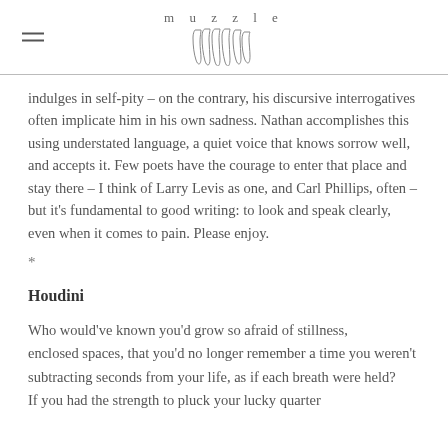muzzle
indulges in self-pity – on the contrary, his discursive interrogatives often implicate him in his own sadness. Nathan accomplishes this using understated language, a quiet voice that knows sorrow well, and accepts it. Few poets have the courage to enter that place and stay there – I think of Larry Levis as one, and Carl Phillips, often – but it's fundamental to good writing: to look and speak clearly, even when it comes to pain. Please enjoy.
*
Houdini
Who would've known you'd grow so afraid of stillness, enclosed spaces, that you'd no longer remember a time you weren't
subtracting seconds from your life, as if each breath were held?
If you had the strength to pluck your lucky quarter